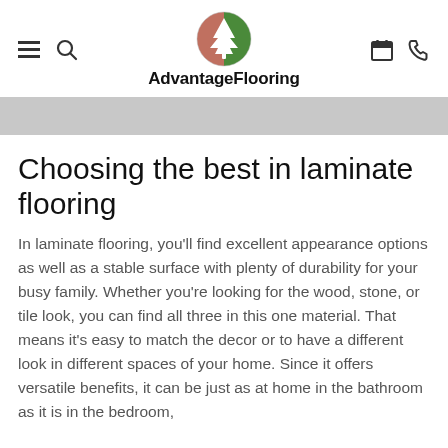AdvantageFlooring
Choosing the best in laminate flooring
In laminate flooring, you'll find excellent appearance options as well as a stable surface with plenty of durability for your busy family. Whether you're looking for the wood, stone, or tile look, you can find all three in this one material. That means it's easy to match the decor or to have a different look in different spaces of your home. Since it offers versatile benefits, it can be just as at home in the bathroom as it is in the bedroom,